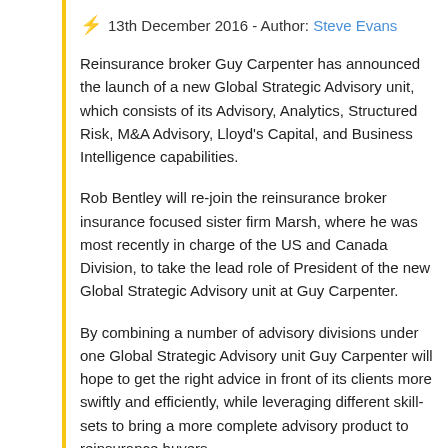13th December 2016 - Author: Steve Evans
Reinsurance broker Guy Carpenter has announced the launch of a new Global Strategic Advisory unit, which consists of its Advisory, Analytics, Structured Risk, M&A Advisory, Lloyd's Capital, and Business Intelligence capabilities.
Rob Bentley will re-join the reinsurance broker insurance focused sister firm Marsh, where he was most recently in charge of the US and Canada Division, to take the lead role of President of the new Global Strategic Advisory unit at Guy Carpenter.
By combining a number of advisory divisions under one Global Strategic Advisory unit Guy Carpenter will hope to get the right advice in front of its clients more swiftly and efficiently, while leveraging different skill-sets to bring a more complete advisory product to reinsurance buyers.
Bentley, a 30-year veteran of insurance and reinsurance broking and with executive and operational experience in analytics and software development, will report to Guy Carpenter President & CEO of Peter Hearn, and will be based